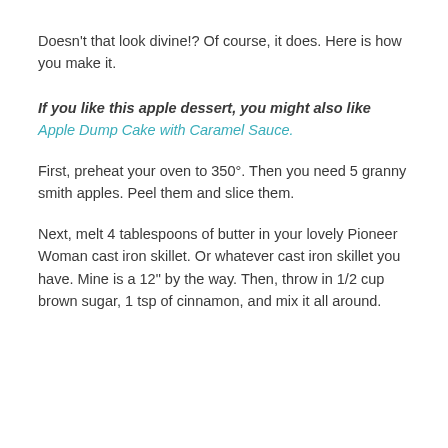Doesn't that look divine!? Of course, it does. Here is how you make it.
If you like this apple dessert, you might also like Apple Dump Cake with Caramel Sauce.
First, preheat your oven to 350°. Then you need 5 granny smith apples. Peel them and slice them.
Next, melt 4 tablespoons of butter in your lovely Pioneer Woman cast iron skillet. Or whatever cast iron skillet you have. Mine is a 12" by the way. Then, throw in 1/2 cup brown sugar, 1 tsp of cinnamon, and mix it all around.